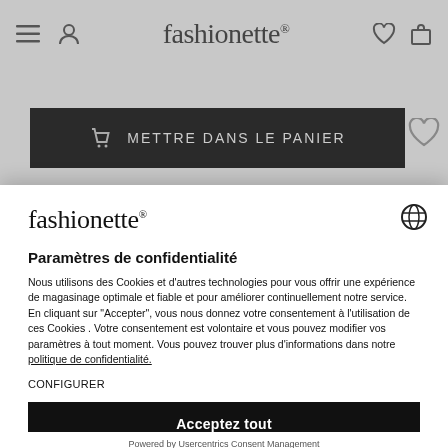[Figure (screenshot): Fashionette website header with hamburger menu, user icon, fashionette logo with registered trademark, heart icon, and shopping bag icon. Below is a dark 'METTRE DANS LE PANIER' add to cart button.]
[Figure (screenshot): Cookie consent modal overlay for fashionette website showing logo, globe icon, privacy settings title, body text, CONFIGURER link, Acceptez tout button, and Powered by Usercentrics Consent Management footer.]
fashionette®
Paramètres de confidentialité
Nous utilisons des Cookies et d'autres technologies pour vous offrir une expérience de magasinage optimale et fiable et pour améliorer continuellement notre service. En cliquant sur "Accepter", vous nous donnez votre consentement à l'utilisation de ces Cookies . Votre consentement est volontaire et vous pouvez modifier vos paramètres à tout moment. Vous pouvez trouver plus d'informations dans notre politique de confidentialité.
CONFIGURER
Acceptez tout
Powered by Usercentrics Consent Management